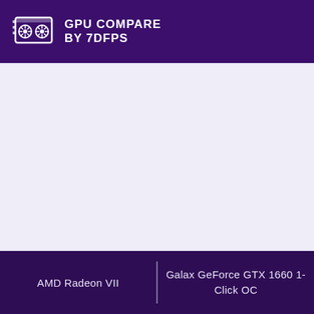GPU COMPARE BY 7DFPS
AMD Radeon VII | Galax GeForce GTX 1660 1-Click OC